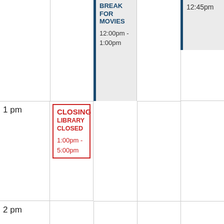[Figure (other): Library calendar grid showing time slots from before 1pm to 3pm. Contains events: BREAK FOR MOVIES 12:00pm-1:00pm, partial time 12:45pm top right, CLOSING LIBRARY CLOSED 1:00pm-5:00pm, VIRTUAL TALK TIM 3:45pm-4:45pm]
BREAK FOR MOVIES 12:00pm - 1:00pm
12:45pm
1 pm
CLOSING LIBRARY CLOSED 1:00pm - 5:00pm
2 pm
3 pm
VIRTUAL TALK TIM 3:45pm 4:45pm